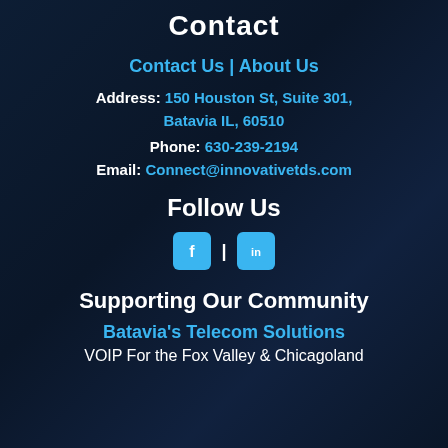Contact
Contact Us | About Us
Address: 150 Houston St, Suite 301, Batavia IL, 60510
Phone: 630-239-2194
Email: Connect@innovativetds.com
Follow Us
[Figure (infographic): Facebook and LinkedIn social media icons with a separator]
Supporting Our Community
Batavia's Telecom Solutions
VOIP For the Fox Valley & Chicagoland